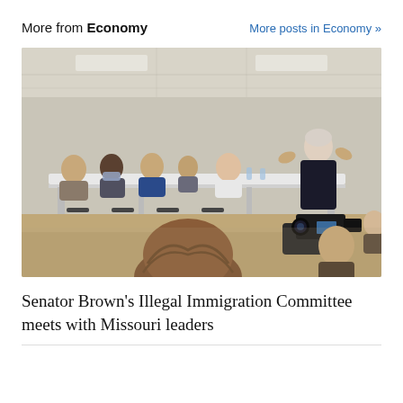More from Economy
More posts in Economy »
[Figure (photo): Senator Brown and committee members seated at a long white table in a meeting room, with a person speaking/standing on the right side facing the group, a camera operator and reporter visible in the foreground.]
Senator Brown's Illegal Immigration Committee meets with Missouri leaders